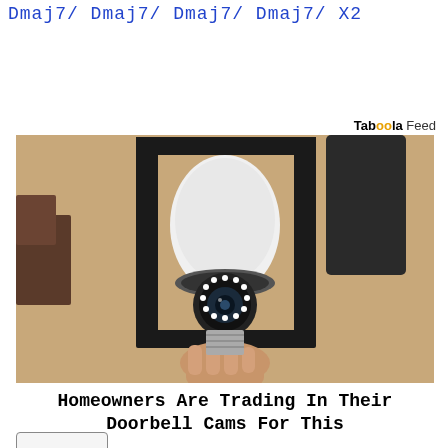Dmaj7/ Dmaj7/ Dmaj7/ Dmaj7/ X2
Tabóóla Feed
[Figure (photo): A person installing or handling a bulb-shaped security camera inside a black outdoor lantern fixture mounted on a textured stucco wall.]
Homeowners Are Trading In Their Doorbell Cams For This